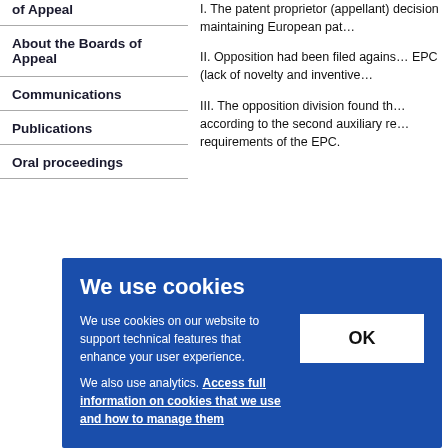of Appeal
About the Boards of Appeal
Communications
Publications
Oral proceedings
I. The patent proprietor (appellant) decision maintaining European pat…
II. Opposition had been filed against EPC (lack of novelty and inventive…
III. The opposition division found th… according to the second auxiliary re… requirements of the EPC.
We use cookies
We use cookies on our website to support technical features that enhance your user experience.
We also use analytics. Access full information on cookies that we use and how to manage them
OK